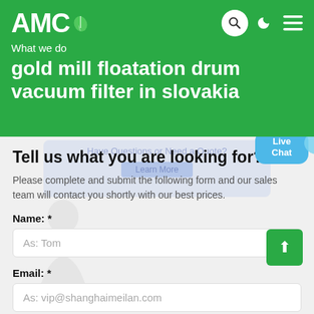[Figure (logo): AMC logo with green leaf icon in white on green background]
What we do
gold mill floatation drum vacuum filter in slovakia
Tell us what you are looking for?
Please complete and submit the following form and our sales team will contact you shortly with our best prices.
Name: *
As: Tom
Email: *
As: vip@shanghaimeilan.com
Phone: *